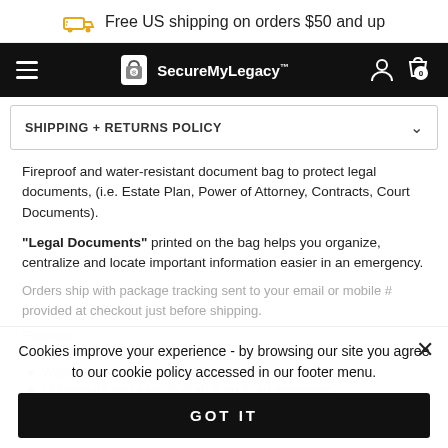Free US shipping on orders $50 and up
SecureMyLegacy
SHIPPING + RETURNS POLICY
Fireproof and water-resistant document bag to protect legal documents, (i.e. Estate Plan, Power of Attorney, Contracts, Court Documents).
"Legal Documents" printed on the bag helps you organize, centralize and locate important information easier in an emergency.
Orders ship with package tracking sent to your email or mobile # provided at checkout just before shipping.
Features:
Fire-resistant up to 1,…
Water-resistant from splash/water resistance
Lightweight and easy to grab & go in an emergency
Cookies improve your experience - by browsing our site you agree to our cookie policy accessed in our footer menu.